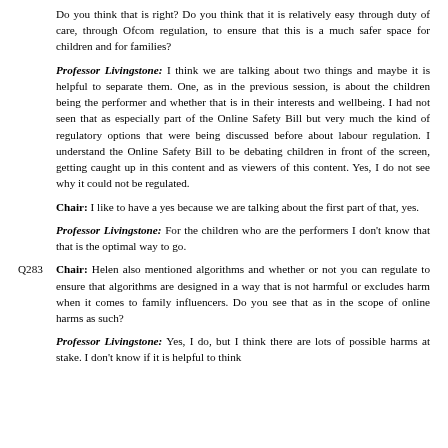Do you think that is right? Do you think that it is relatively easy through duty of care, through Ofcom regulation, to ensure that this is a much safer space for children and for families?
Professor Livingstone: I think we are talking about two things and maybe it is helpful to separate them. One, as in the previous session, is about the children being the performer and whether that is in their interests and wellbeing. I had not seen that as especially part of the Online Safety Bill but very much the kind of regulatory options that were being discussed before about labour regulation. I understand the Online Safety Bill to be debating children in front of the screen, getting caught up in this content and as viewers of this content. Yes, I do not see why it could not be regulated.
Chair: I like to have a yes because we are talking about the first part of that, yes.
Professor Livingstone: For the children who are the performers I don't know that that is the optimal way to go.
Q283 Chair: Helen also mentioned algorithms and whether or not you can regulate to ensure that algorithms are designed in a way that is not harmful or excludes harm when it comes to family influencers. Do you see that as in the scope of online harms as such?
Professor Livingstone: Yes, I do, but I think there are lots of possible harms at stake. I don't know if it is helpful to think